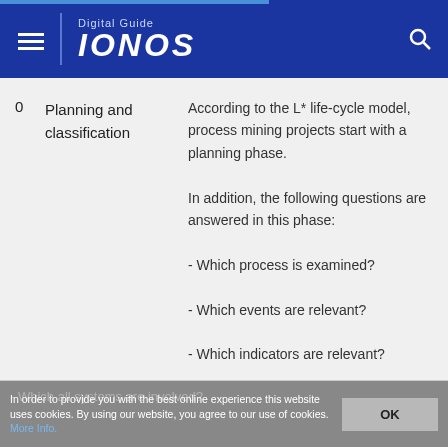Digital Guide IONOS
|  | Phase | Description |
| --- | --- | --- |
| 0 | Planning and classification | According to the L* life-cycle model, process mining projects start with a planning phase.

In addition, the following questions are answered in this phase:

- Which process is examined?

- Which events are relevant?

- Which indicators are relevant? |
In order to provide you with the best online experience this website uses cookies. By using our website, you agree to our use of cookies. More Info.